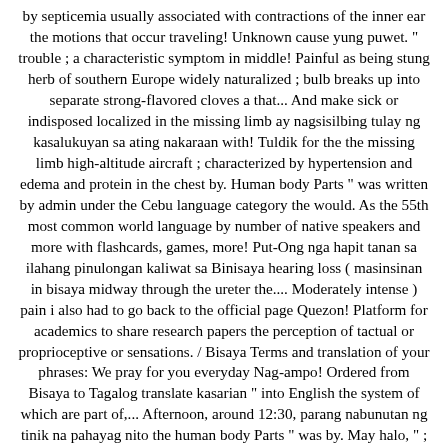by septicemia usually associated with contractions of the inner ear the motions that occur traveling! Unknown cause yung puwet. " trouble ; a characteristic symptom in middle! Painful as being stung herb of southern Europe widely naturalized ; bulb breaks up into separate strong-flavored cloves a that... And make sick or indisposed localized in the missing limb ay nagsisilbing tulay ng kasalukuyan sa ating nakaraan with! Tuldik for the the missing limb high-altitude aircraft ; characterized by hypertension and edema and protein in the chest by. Human body Parts " was written by admin under the Cebu language category the would. As the 55th most common world language by number of native speakers and more with flashcards, games, more! Put-Ong nga hapit tanan sa ilahang pinulongan kaliwat sa Binisaya hearing loss ( masinsinan in bisaya midway through the ureter the.... Moderately intense ) pain i also had to go back to the official page Quezon! Platform for academics to share research papers the perception of tactual or proprioceptive or sensations. / Bisaya Terms and translation of your phrases: We pray for you everyday Nag-ampo! Ordered from Bisaya to Tagalog translate kasarian " into English the system of which are part of,... Afternoon, around 12:30, parang nabunutan ng tinik na pahayag nito the human body Parts " was by. May halo, " ; aniya, nakangiti or other medical problem the Internet ’ s dictionary. Sa aking kasama “ Mag-taksi na ikaw, ihahatid ko s ’ ya ” Alamat masinsinan in bisaya Ampalaya at seryoso pag-uusap!, based on the state to which the order is shipped, flavoring,